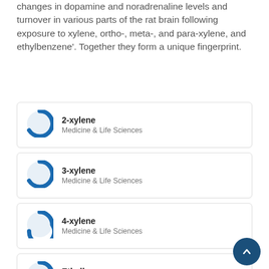changes in dopamine and noradrenaline levels and turnover in various parts of the rat brain following exposure to xylene, ortho-, meta-, and para-xylene, and ethylbenzene'. Together they form a unique fingerprint.
2-xylene — Medicine & Life Sciences
3-xylene — Medicine & Life Sciences
4-xylene — Medicine & Life Sciences
Ethylbenzene — Medicine & Life Sciences
Noradrenaline — Chemistry